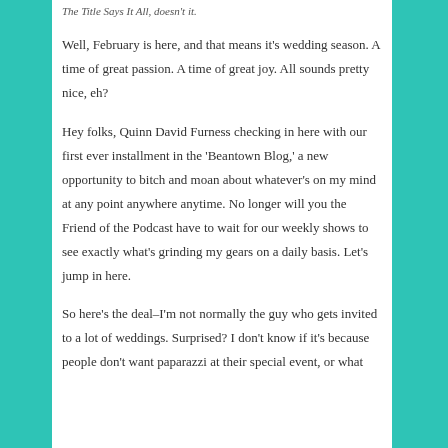The Title Says It All, doesn't it.
Well, February is here, and that means it's wedding season. A time of great passion. A time of great joy. All sounds pretty nice, eh?
Hey folks, Quinn David Furness checking in here with our first ever installment in the 'Beantown Blog,' a new opportunity to bitch and moan about whatever's on my mind at any point anywhere anytime. No longer will you the Friend of the Podcast have to wait for our weekly shows to see exactly what's grinding my gears on a daily basis. Let's jump in here.
So here's the deal–I'm not normally the guy who gets invited to a lot of weddings. Surprised? I don't know if it's because people don't want paparazzi at their special event, or what